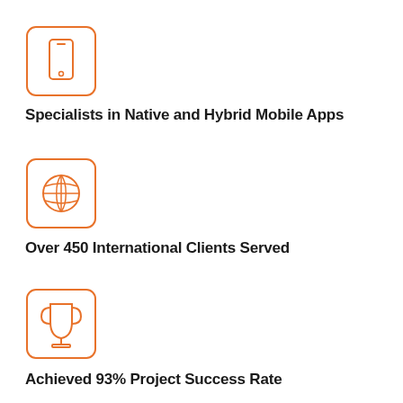[Figure (illustration): Orange rounded-square icon with a mobile phone (smartphone) outline in orange]
Specialists in Native and Hybrid Mobile Apps
[Figure (illustration): Orange rounded-square icon with a globe/world icon in orange]
Over 450 International Clients Served
[Figure (illustration): Orange rounded-square icon with a trophy/cup icon in orange]
Achieved 93% Project Success Rate